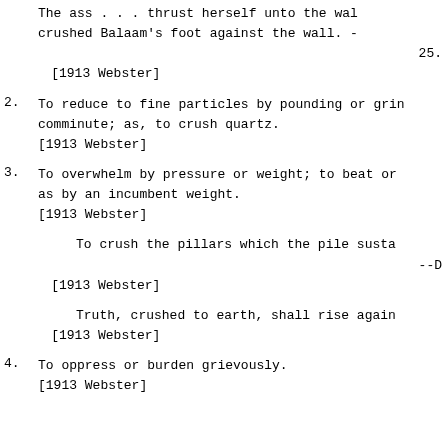The ass . . . thrust herself unto the wall, and crushed Balaam's foot against the wall. -
25.
[1913 Webster]
2. To reduce to fine particles by pounding or grinding; comminute; as, to crush quartz.
[1913 Webster]
3. To overwhelm by pressure or weight; to beat or press, as by an incumbent weight.
[1913 Webster]
To crush the pillars which the pile sustains.
--D
[1913 Webster]
Truth, crushed to earth, shall rise again.
[1913 Webster]
4. To oppress or burden grievously.
[1913 Webster]